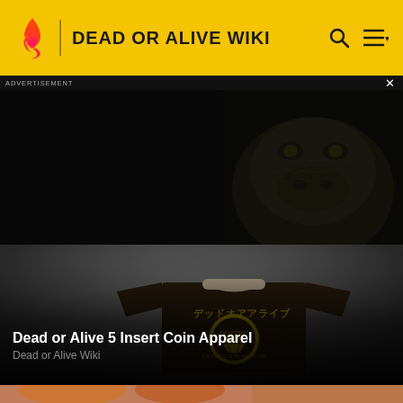DEAD OR ALIVE WIKI
ADVERTISEMENT
[Figure (screenshot): Dark advertisement banner with a close (X) button. Right portion shows a dark creature/monster face image.]
[Figure (photo): Card showing a dark brown T-shirt with Japanese text (デッドオアアライブ) and a DOATEC globe logo in yellow, on a gradient gray background.]
Dead or Alive 5 Insert Coin Apparel
Dead or Alive Wiki
[Figure (photo): Partial view of a card showing an anime/game character with orange hair on a blurred background.]